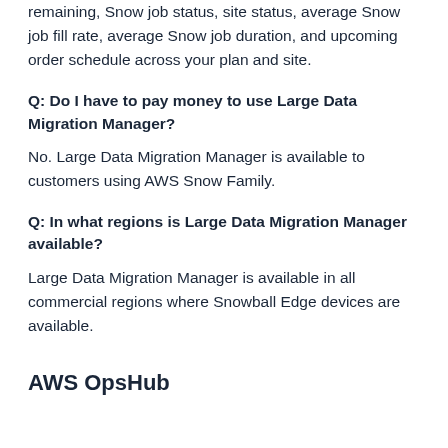remaining, Snow job status, site status, average Snow job fill rate, average Snow job duration, and upcoming order schedule across your plan and site.
Q: Do I have to pay money to use Large Data Migration Manager?
No. Large Data Migration Manager is available to customers using AWS Snow Family.
Q: In what regions is Large Data Migration Manager available?
Large Data Migration Manager is available in all commercial regions where Snowball Edge devices are available.
AWS OpsHub